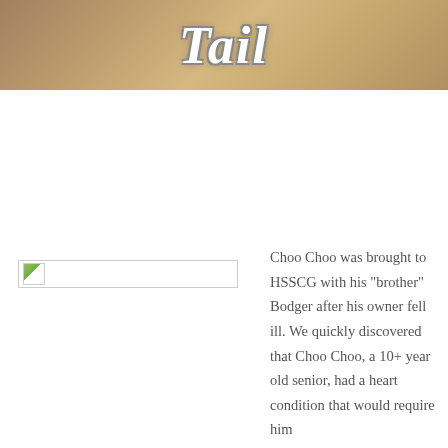[Figure (photo): Background photo of an animal (likely a dog or cat) in brown/tan tones with the word 'Tail' overlaid in white italic script]
Tail
[Figure (photo): Placeholder image box with small landscape icon]
Choo Choo was brought to HSSCG with his "brother" Bodger after his owner fell ill. We quickly discovered that Choo Choo, a 10+ year old senior, had a heart condition that would require him to be on medication for the rest of his life. Knowing this,